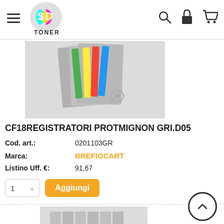[Figure (logo): SD Toner logo - colorful circular logo with S and D letters in cyan/magenta/yellow, 'TONER' text below]
[Figure (photo): Photo of multiple ring binders/registratori stacked with colorful spines (grey, green, yellow, red, blue)]
CF18REGISTRATORI PROTMIGNON GRI.D05
Cod. art.: 0201103GR
Marca: BREFIOCART
Listino Uff. €: 91,67
[Figure (photo): Photo of multiple ring binders stacked showing colored spines (grey body with green, yellow, red, blue labels)]